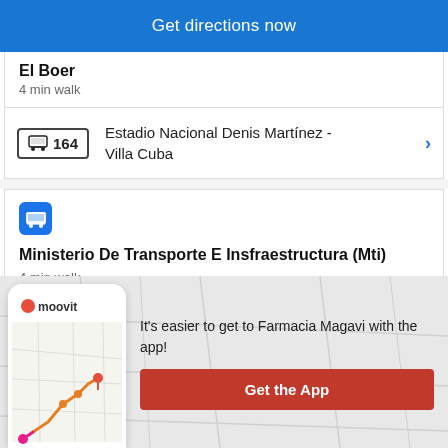Get directions now
El Boer
4 min walk
164  Estadio Nacional Denis Martínez - Villa Cuba
Ministerio De Transporte E Insfraestructura (Mti)
4 min walk
It's easier to get to Farmacia Magavi with the app!
Get the App